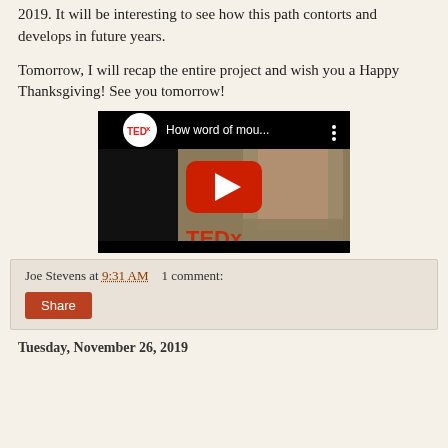2019. It will be interesting to see how this path contorts and develops in future years.
Tomorrow, I will recap the entire project and wish you a Happy Thanksgiving! See you tomorrow!
[Figure (screenshot): YouTube video thumbnail showing a TEDx talk. The video title reads 'How word of mou...' with a TEDx logo on the left and a three-dot menu icon on the right. The thumbnail shows a man standing in front of a TEDx backdrop. A red YouTube play button is overlaid in the center.]
Joe Stevens at 9:31 AM    1 comment:
Share
Tuesday, November 26, 2019